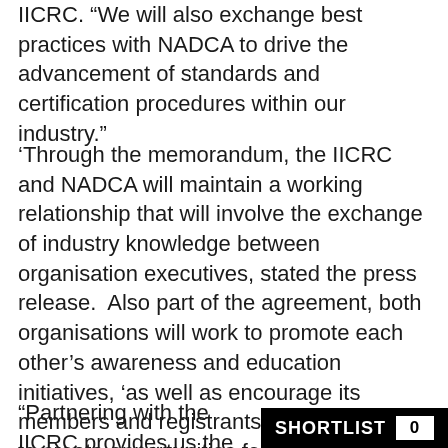IICRC. “We will also exchange best practices with NADCA to drive the advancement of standards and certification procedures within our industry.”
‘Through the memorandum, the IICRC and NADCA will maintain a working relationship that will involve the exchange of industry knowledge between organisation executives, stated the press release.  Also part of the agreement, both organisations will work to promote each other’s awareness and education initiatives, ‘as well as encourage its members and registrants to work together to create opportunities for technical training during annual meetings’.
“Partnering with the IICRC provides us the opportunity to expand our knowl…